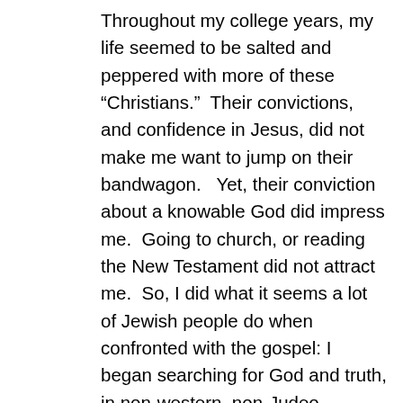Throughout my college years, my life seemed to be salted and peppered with more of these “Christians.”  Their convictions, and confidence in Jesus, did not make me want to jump on their bandwagon.   Yet, their conviction about a knowable God did impress me.  Going to church, or reading the New Testament did not attract me.  So, I did what it seems a lot of Jewish people do when confronted with the gospel: I began searching for God and truth, in non-western, non-Judeo-Christian sources.  I read about Buddhism, Taoism, Hinduism, Confucius’ writings, and even some of the Koran.  Each time, I read some literature, I tried to go as close to the source as possible.  I did not want to read someone else’s comments about Buddhism or Taoism, etc.  I wanted to read English translations based on original writings and primary sources.